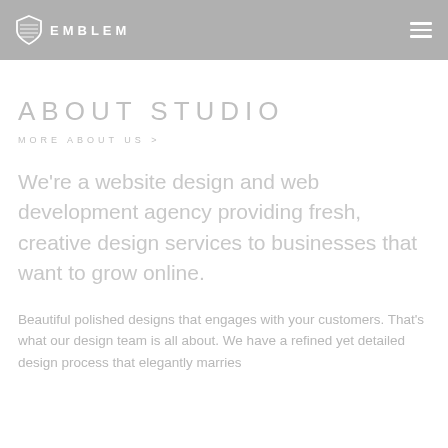EMBLEM
ABOUT STUDIO
MORE ABOUT US >
We're a website design and web development agency providing fresh, creative design services to businesses that want to grow online.
Beautiful polished designs that engages with your customers. That's what our design team is all about. We have a refined yet detailed design process that elegantly marries